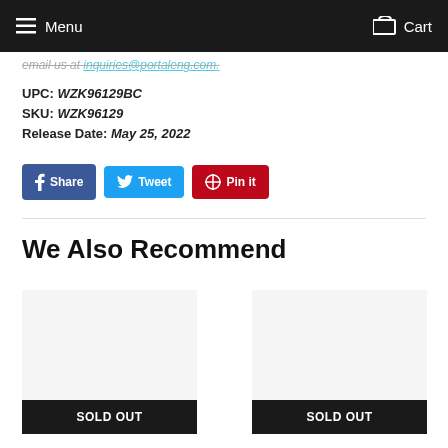Menu  Cart
email us at inquiries@portaleng.com.
UPC: WZK96129BC
SKU: WZK96129
Release Date: May 25, 2022
[Figure (infographic): Social sharing buttons: Share (Facebook, blue), Tweet (Twitter, light blue), Pin it (Pinterest, red)]
We Also Recommend
[Figure (infographic): Product card with SOLD OUT button]
[Figure (infographic): Product card with SOLD OUT button]